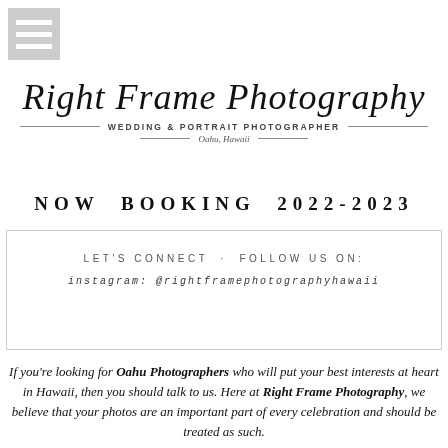[Figure (logo): Hamburger menu icon with three white bars on grey background]
Right Frame Photography
WEDDING & PORTRAIT PHOTOGRAPHER
Oahu, Hawaii
NOW BOOKING 2022-2023
LET'S CONNECT - FOLLOW US ON:
instagram: @rightframephotographyhawaii
If you're looking for Oahu Photographers who will put your best interests at heart in Hawaii, then you should talk to us. Here at Right Frame Photography, we believe that your photos are an important part of every celebration and should be treated as such.